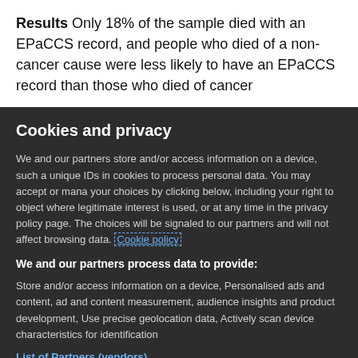Results Only 18% of the sample died with an EPaCCS record, and people who died of a non-cancer cause were less likely to have an EPaCCS record than those who died of cancer
Cookies and privacy
We and our partners store and/or access information on a device, such as unique IDs in cookies to process personal data. You may accept or manage your choices by clicking below, including your right to object where legitimate interest is used, or at any time in the privacy policy page. These choices will be signaled to our partners and will not affect browsing data. Cookie policy
We and our partners process data to provide:
Store and/or access information on a device, Personalised ads and content, ad and content measurement, audience insights and product development, Use precise geolocation data, Actively scan device characteristics for identification
List of Partners (vendors)
I Accept